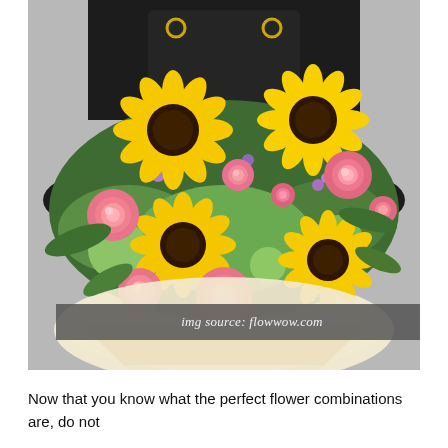[Figure (photo): A florist in a dark apron holding a large bouquet of sunflowers, pink roses, and greenery wrapped in cream paper, photographed against a light grey background.]
img source: flowwow.com
Now that you know what the perfect flower combinations are, do not